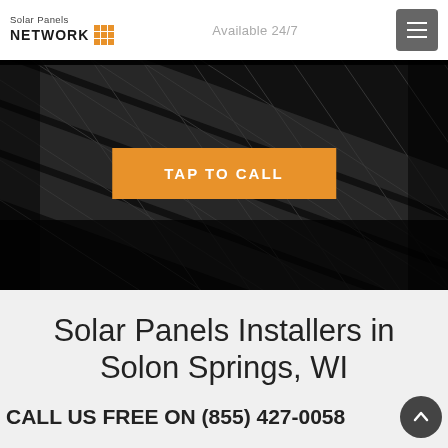Solar Panels NETWORK | Available 24/7
[Figure (screenshot): Dark hero image showing solar panels in close-up with dramatic dark overlay]
TAP TO CALL
Solar Panels Installers in Solon Springs, WI
CALL US FREE ON (855) 427-0058